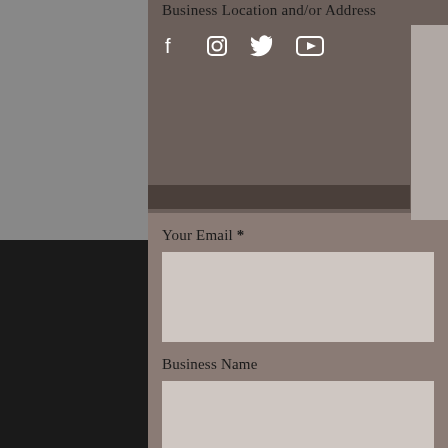Business Location and/or Address
[Figure (screenshot): Social media icons: Facebook, Instagram, Twitter, YouTube on dark brownish background]
Your Email *
Business Name
Continue